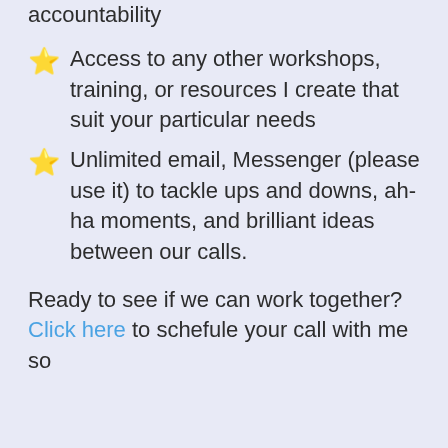accountability
Access to any other workshops, training, or resources I create that suit your particular needs
Unlimited email, Messenger (please use it) to tackle ups and downs, ah-ha moments, and brilliant ideas between our calls.
Ready to see if we can work together? Click here to schefule your call with me so